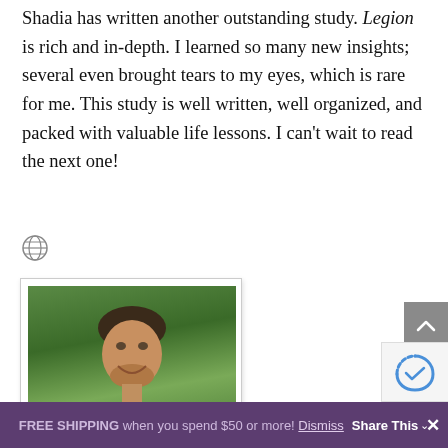Shadia has written another outstanding study. Legion is rich and in-depth. I learned so many new insights; several even brought tears to my eyes, which is rare for me. This study is well written, well organized, and packed with valuable life lessons. I can't wait to read the next one!
[Figure (other): Globe/web icon (gray)]
[Figure (photo): Headshot of a smiling middle-aged man with short dark hair and beard stubble, wearing a light blue shirt, photographed outdoors in front of green foliage]
FREE SHIPPING when you spend $50 or more! Dismiss  Share This